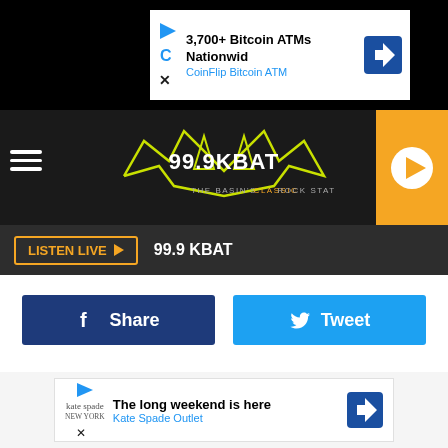[Figure (screenshot): Top advertisement banner: '3,700+ Bitcoin ATMs Nationwid' with 'CoinFlip Bitcoin ATM' subtitle, logos and blue navigation arrow on right]
[Figure (logo): 99.9 KBAT radio station logo with bat graphic and tagline 'THE BASIN'S CLASSIC ROCK STATION', hamburger menu on left, orange play button on right]
LISTEN LIVE ▶   99.9 KBAT
[Figure (infographic): Two social sharing buttons: dark blue Facebook Share button and light blue Twitter Tweet button]
[Figure (screenshot): Bottom advertisement banner: 'The long weekend is here' with 'Kate Spade Outlet' subtitle and blue navigation arrow on right]